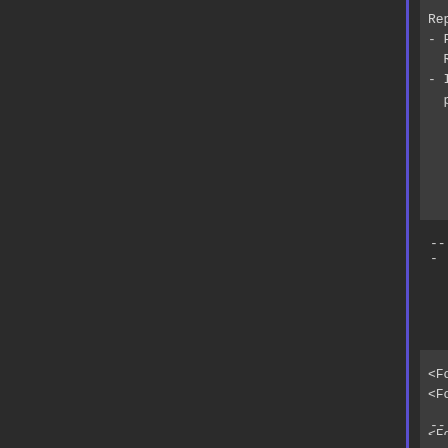Replace 'x' with the ID of t
- For 'name' notetag variant,
  Remove any \I[x] in the 'name
- If multiples of this notetag
  priority will go in the order
---
<Force Received Element id Rate
<Force Received Element id Rate

<Force Received Element name Ra
<Force Received Element name Ra

- Used for: Actor, Class, Weapo
- Forces the unit to receive el
- Replace 'id' with the ID of t
- For 'name' notetag variant, r
  Remove any \I[x] in the 'name
- Insert multiples of this note
---